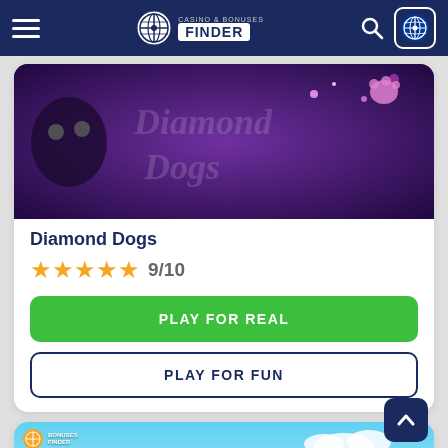[Figure (screenshot): Casino & Bonuses Finder navigation bar with hamburger menu, logo, search icon, and flag button]
[Figure (photo): Diamond Dogs slot game banner with purple/sparkle themed design]
Diamond Dogs
★★★★★ 9/10
PLAY FOR REAL
PLAY FOR FUN
[Figure (photo): Funky Chicken slot game banner with green field and blue sky background, partially visible]